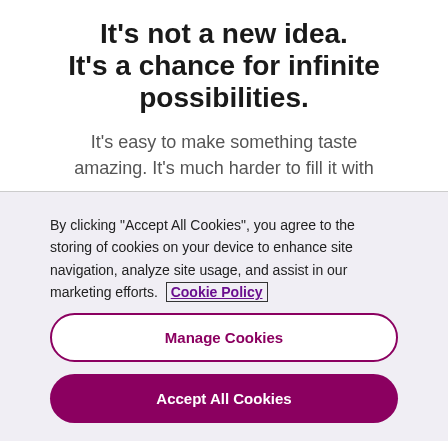It's not a new idea. It's a chance for infinite possibilities.
It's easy to make something taste amazing. It's much harder to fill it with
By clicking "Accept All Cookies", you agree to the storing of cookies on your device to enhance site navigation, analyze site usage, and assist in our marketing efforts. Cookie Policy
Manage Cookies
Accept All Cookies